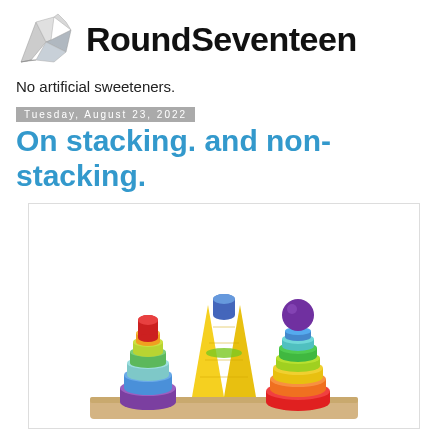RoundSeventeen
No artificial sweeteners.
Tuesday, August 23, 2022
On stacking. and non-stacking.
[Figure (photo): Three colorful wooden stacking toy towers on a wooden base — left tower has hexagonal pieces, middle has cone shape, right has rounded rings — in rainbow colors (red, orange, yellow, green, blue, purple)]